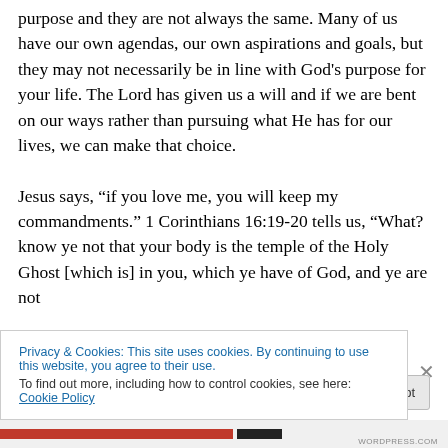purpose and they are not always the same. Many of us have our own agendas, our own aspirations and goals, but they may not necessarily be in line with God's purpose for your life. The Lord has given us a will and if we are bent on our ways rather than pursuing what He has for our lives, we can make that choice.
Jesus says, “if you love me, you will keep my commandments.” 1 Corinthians 16:19-20 tells us, “What? know ye not that your body is the temple of the Holy Ghost [which is] in you, which ye have of God, and ye are not
Privacy & Cookies: This site uses cookies. By continuing to use this website, you agree to their use.
To find out more, including how to control cookies, see here: Cookie Policy
Close and accept